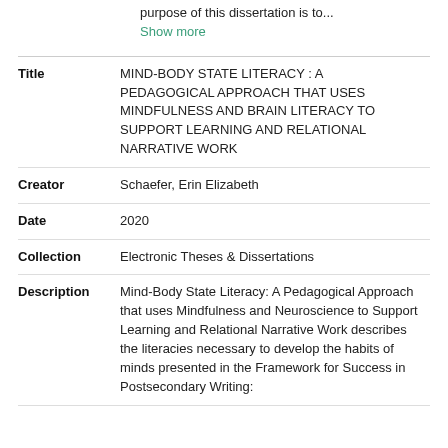purpose of this dissertation is to...
Show more
| Title | MIND-BODY STATE LITERACY : A PEDAGOGICAL APPROACH THAT USES MINDFULNESS AND BRAIN LITERACY TO SUPPORT LEARNING AND RELATIONAL NARRATIVE WORK |
| Creator | Schaefer, Erin Elizabeth |
| Date | 2020 |
| Collection | Electronic Theses & Dissertations |
| Description | Mind-Body State Literacy: A Pedagogical Approach that uses Mindfulness and Neuroscience to Support Learning and Relational Narrative Work describes the literacies necessary to develop the habits of minds presented in the Framework for Success in Postsecondary Writing: |